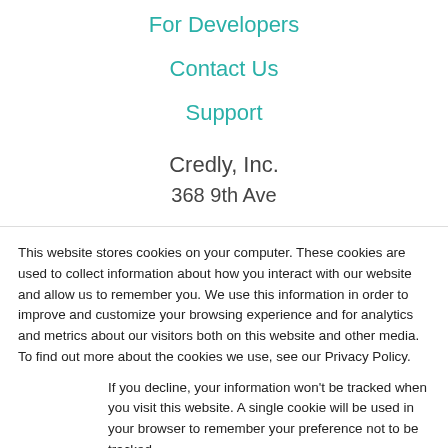For Developers
Contact Us
Support
Credly, Inc.
368 9th Ave
This website stores cookies on your computer. These cookies are used to collect information about how you interact with our website and allow us to remember you. We use this information in order to improve and customize your browsing experience and for analytics and metrics about our visitors both on this website and other media. To find out more about the cookies we use, see our Privacy Policy.
If you decline, your information won’t be tracked when you visit this website. A single cookie will be used in your browser to remember your preference not to be tracked.